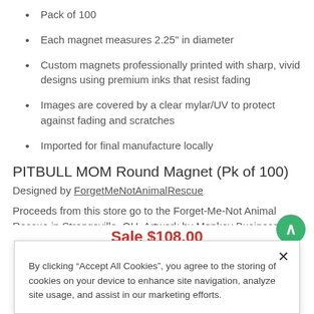Pack of 100
Each magnet measures 2.25" in diameter
Custom magnets professionally printed with sharp, vivid designs using premium inks that resist fading
Images are covered by a clear mylar/UV to protect against fading and scratches
Imported for final manufacture locally
PITBULL MOM Round Magnet (Pk of 100)
Designed by ForgetMeNotAnimalRescue
Proceeds from this store go to the Forget-Me-Not Animal Rescue in Strongsville, OH. Artwork by Monkey Business Graphic Design, of River City, NY...
Sale $108.00
By clicking “Accept All Cookies”, you agree to the storing of cookies on your device to enhance site navigation, analyze site usage, and assist in our marketing efforts.